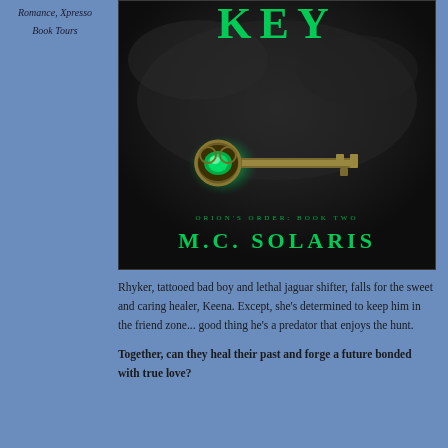Romance, Xpresso Book Tours
[Figure (illustration): Book cover for 'Key' by M.C. Solaris, Orion's Order Book Two. Dark background with a glowing green gemstone key in the center. Title 'KEY' in large green letters at top, author name 'M.C. SOLARIS' at bottom.]
Rhyker, tattooed bad boy and lethal jaguar shifter, falls for the sweet and caring healer, Keena. Except, she's determined to keep him in the friend zone... good thing he's a predator that enjoys the hunt.
Together, can they heal their past and forge a future bonded with true love?